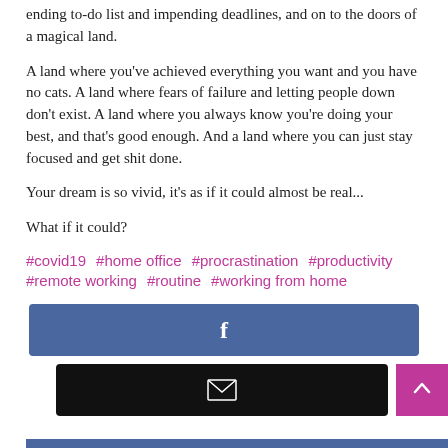ending to-do list and impending deadlines, and on to the doors of a magical land.
A land where you've achieved everything you want and you have no cats. A land where fears of failure and letting people down don't exist. A land where you always know you're doing your best, and that's good enough. And a land where you can just stay focused and get shit done.
Your dream is so vivid, it's as if it could almost be real...
What if it could?
#covid19  #home office  #procrastination  #productivity  #remote working  #routine  #working from home
[Figure (other): Facebook share button (dark blue background with white 'f' icon)]
[Figure (other): Email share button (black background with white envelope icon) and pink scroll-to-top button with white chevron]
[Figure (other): Partial blue bar at bottom of page]